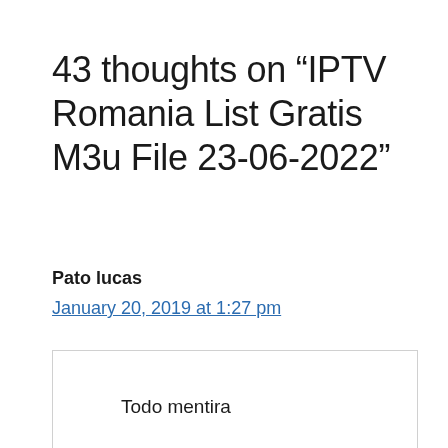43 thoughts on “IPTV Romania List Gratis M3u File 23-06-2022”
Pato lucas
January 20, 2019 at 1:27 pm
Todo mentira
Reply